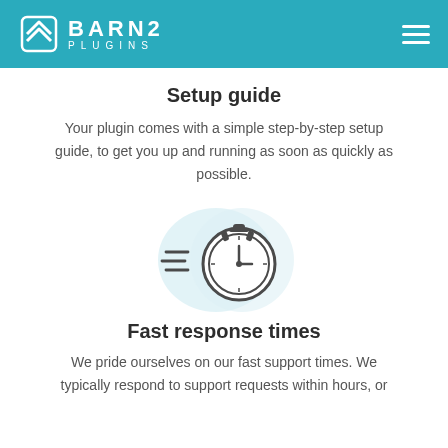BARN2 PLUGINS
Setup guide
Your plugin comes with a simple step-by-step setup guide, to get you up and running as soon as quickly as possible.
[Figure (illustration): Stopwatch icon with speed lines on a light blue circular background, representing fast response times]
Fast response times
We pride ourselves on our fast support times. We typically respond to support requests within hours, or